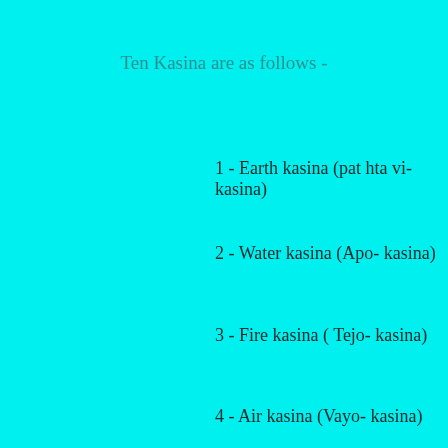Ten Kasina are as follows -
1 - Earth kasina (pat hta vi- kasina)
2 - Water kasina (Apo- kasina)
3 - Fire kasina ( Tejo- kasina)
4 - Air kasina (Vayo- kasina)
5 - Blue kasina (Nila- kasina)